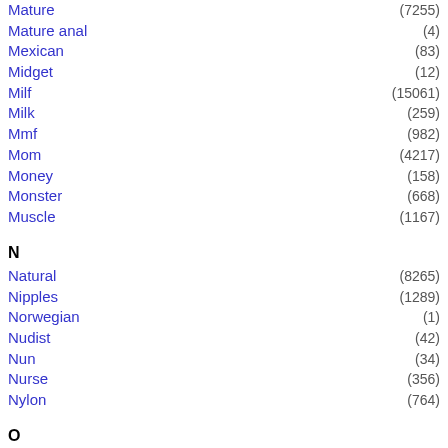Mature (7255)
Mature anal (4)
Mexican (83)
Midget (12)
Milf (15061)
Milk (259)
Mmf (982)
Mom (4217)
Money (158)
Monster (668)
Muscle (1167)
N
Natural (8265)
Nipples (1289)
Norwegian (1)
Nudist (42)
Nun (34)
Nurse (356)
Nylon (764)
O
Office (646)
Oil (1585)